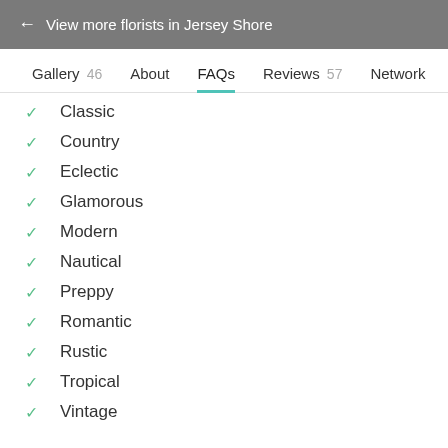← View more florists in Jersey Shore
Gallery 46   About   FAQs   Reviews 57   Network
Classic
Country
Eclectic
Glamorous
Modern
Nautical
Preppy
Romantic
Rustic
Tropical
Vintage